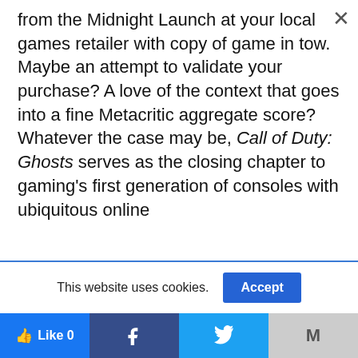from the Midnight Launch at your local games retailer with copy of game in tow. Maybe an attempt to validate your purchase? A love of the context that goes into a fine Metacritic aggregate score?
Whatever the case may be, Call of Duty: Ghosts serves as the closing chapter to gaming's first generation of consoles with ubiquitous online
This website uses cookies.
[Figure (other): Social sharing bar with Like (Facebook), Facebook, Twitter, and Gmail buttons]